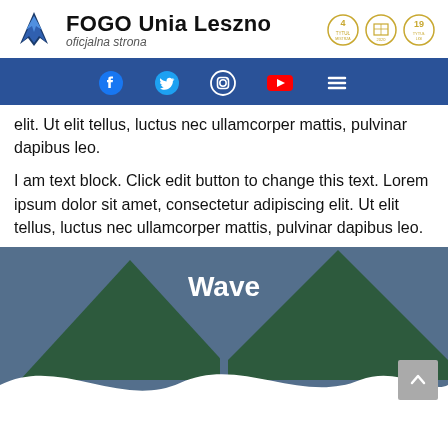FOGO Unia Leszno oficjalna strona
[Figure (other): Navigation bar with social media icons: Facebook, Twitter, Instagram, YouTube, and hamburger menu on blue background]
elit. Ut elit tellus, luctus nec ullamcorper mattis, pulvinar dapibus leo.
I am text block. Click edit button to change this text. Lorem ipsum dolor sit amet, consectetur adipiscing elit. Ut elit tellus, luctus nec ullamcorper mattis, pulvinar dapibus leo.
[Figure (illustration): Wave section with steel blue background, two dark green mountain/triangle shapes, a white wave SVG shape at the bottom, the word 'Wave' in bold white text in the center, and a grey back-to-top arrow button in the bottom right corner.]